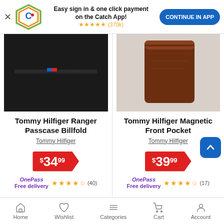[Figure (screenshot): App banner with Catch logo, easy sign in text, star rating (370k reviews), and Continue in App button]
[Figure (photo): Tommy Hilfiger Ranger Passcase Billfold wallet - black leather bifold wallet with Tommy Hilfiger logo]
Tommy Hilfiger Ranger Passcase Billfold
Tommy Hilfiger
$34.99
OnePass Free delivery
★★★★½ (40)
[Figure (photo): Tommy Hilfiger Magnetic Front Pocket wallet - brown leather card holder]
Tommy Hilfiger Magnetic Front Pocket
Tommy Hilfiger
$39.99
OnePass Free delivery
★★★★½ (17)
Home  Wishlist  Categories  Cart  Account